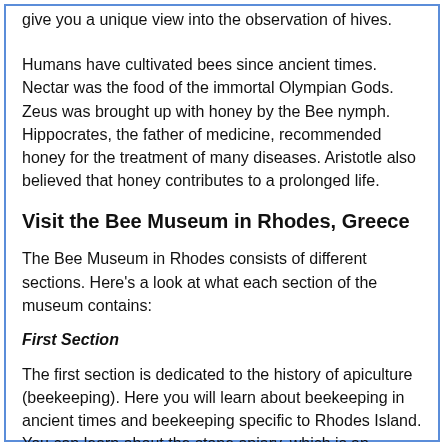give you a unique view into the observation of hives.
Humans have cultivated bees since ancient times. Nectar was the food of the immortal Olympian Gods. Zeus was brought up with honey by the Bee nymph. Hippocrates, the father of medicine, recommended honey for the treatment of many diseases. Aristotle also believed that honey contributes to a prolonged life.
Visit the Bee Museum in Rhodes, Greece
The Bee Museum in Rhodes consists of different sections. Here's a look at what each section of the museum contains:
First Section
The first section is dedicated to the history of apiculture (beekeeping). Here you will learn about beekeeping in ancient times and beekeeping specific to Rhodes Island. You can learn about the stone apiary, which is an important